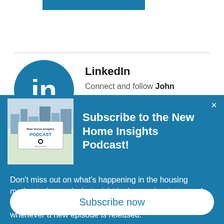[Figure (other): Blue decorative bar at top of page]
[Figure (logo): LinkedIn circular logo with 'in' text in white on blue background]
LinkedIn
Connect and follow John
[Figure (screenshot): New Home Insights Podcast thumbnail image showing a podcast cover with buildings illustration]
Subscribe to the New Home Insights Podcast!
Don’t miss out on what's happening in the housing market today, and what might be happening tomorrow! Fill out the following form to receive email notifications whenever a new episode is released.
Subscribe now